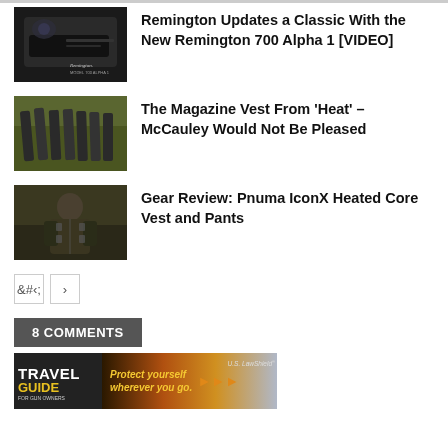[Figure (photo): Thumbnail of Remington 700 Alpha 1 rifle, dark close-up with Remington logo text]
Remington Updates a Classic With the New Remington 700 Alpha 1 [VIDEO]
[Figure (photo): Thumbnail of multiple magazine holders arranged on grass]
The Magazine Vest From ‘Heat’ – McCauley Would Not Be Pleased
[Figure (photo): Thumbnail of person wearing Pnuma hunting vest gear outdoors]
Gear Review: Pnuma IconX Heated Core Vest and Pants
< >
8 COMMENTS
[Figure (other): Advertisement banner: Travel Guide for Gun Owners - Protect yourself wherever you go. U.S. LawShield]